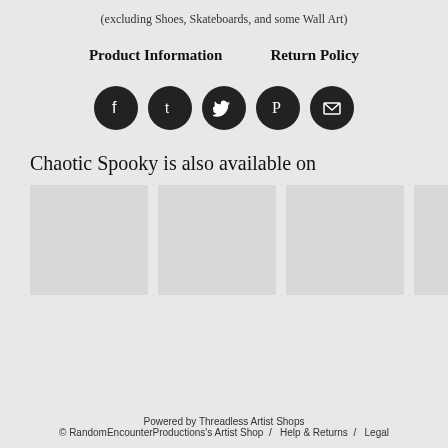(excluding Shoes, Skateboards, and some Wall Art)
Product Information    Return Policy
[Figure (infographic): Five social media share icons in dark circles: Facebook, Tumblr, Twitter, Pinterest, Email]
Chaotic Spooky is also available on
[Figure (infographic): Six placeholder thumbnail images in a horizontal row]
Powered by Threadless Artist Shops
© RandomEncounterProductions's Artist Shop /  Help & Returns /  Legal